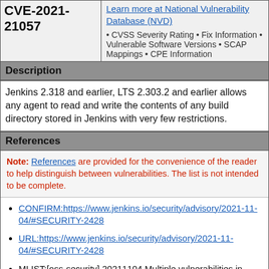| CVE ID | NVD Info |
| --- | --- |
| CVE-2021-21057 | Learn more at National Vulnerability Database (NVD)
• CVSS Severity Rating • Fix Information • Vulnerable Software Versions • SCAP Mappings • CPE Information |
Description
Jenkins 2.318 and earlier, LTS 2.303.2 and earlier allows any agent to read and write the contents of any build directory stored in Jenkins with very few restrictions.
References
Note: References are provided for the convenience of the reader to help distinguish between vulnerabilities. The list is not intended to be complete.
CONFIRM:https://www.jenkins.io/security/advisory/2021-11-04/#SECURITY-2428
URL:https://www.jenkins.io/security/advisory/2021-11-04/#SECURITY-2428
MLIST:[oss-security] 20211104 Multiple vulnerabilities in Jenkins and Jenkins plugins
URL:http://www.openwall.com/lists/oss-security/2021/11/04/3